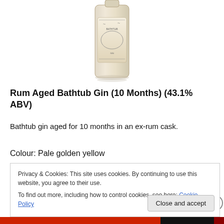[Figure (photo): Product photo of a bottle of Rum Aged Bathtub Gin, showing the label with an illustrated scene, viewed from the front. The bottle is centered in the upper portion of the page.]
Rum Aged Bathtub Gin (10 Months) (43.1% ABV)
Bathtub gin aged for 10 months in an ex-rum cask.
Colour: Pale golden yellow
Privacy & Cookies: This site uses cookies. By continuing to use this website, you agree to their use.
To find out more, including how to control cookies, see here: Cookie Policy